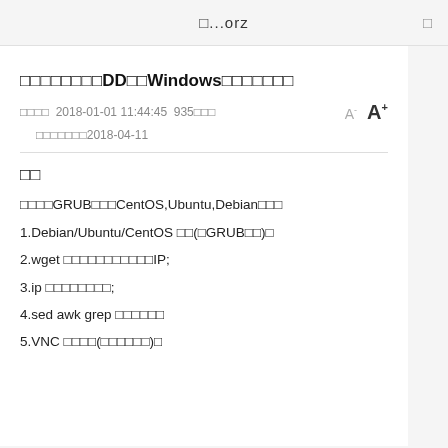□...orz
□□□□□□□□DD□□Windows□□□□□□□
□□□□  2018-01-01 11:44:45  935□□□
□□□□□□□2018-04-11
□□
□□□□GRUB□□□CentOS,Ubuntu,Debian□□□
1.Debian/Ubuntu/CentOS □□(□GRUB□□)□
2.wget □□□□□□□□□□□IP;
3.ip □□□□□□□□;
4.sed awk grep □□□□□□
5.VNC □□□□(□□□□□□)□